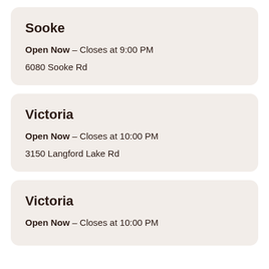Sooke
Open Now – Closes at 9:00 PM
6080 Sooke Rd
Victoria
Open Now – Closes at 10:00 PM
3150 Langford Lake Rd
Victoria
Open Now – Closes at 10:00 PM